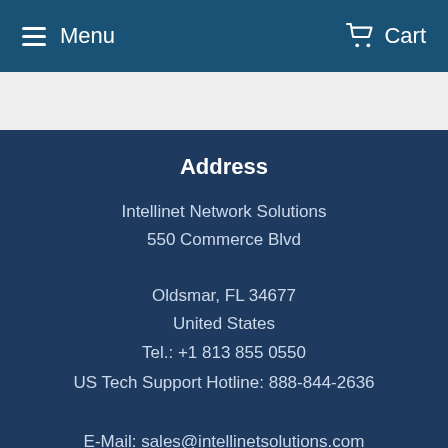Menu  Cart
Address
Intellinet Network Solutions
550 Commerce Blvd

Oldsmar, FL 34677
United States
Tel.: +1 813 855 0550
US Tech Support Hotline: 888-844-2636

E-Mail: sales@intellinetsolutions.com
Quick Links